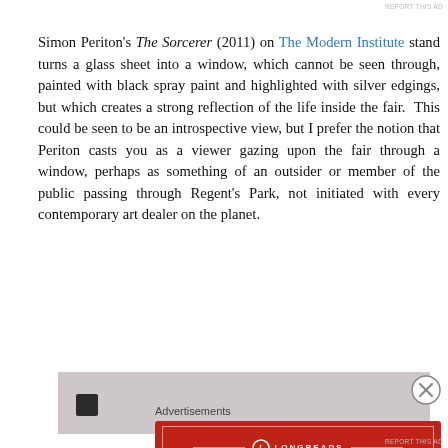Simon Periton's The Sorcerer (2011) on The Modern Institute stand turns a glass sheet into a window, which cannot be seen through, painted with black spray paint and highlighted with silver edgings, but which creates a strong reflection of the life inside the fair. This could be seen to be an introspective view, but I prefer the notion that Periton casts you as a viewer gazing upon the fair through a window, perhaps as something of an outsider or member of the public passing through Regent's Park, not initiated with every contemporary art dealer on the planet.
[Figure (photo): Partially visible image at bottom of page, showing a dark object on a light grey/lavender background, partially cropped]
Advertisements
[Figure (other): Longreads advertisement banner in red with white border, logo and tagline: The best stories on the web — ours, and everyone else's.]